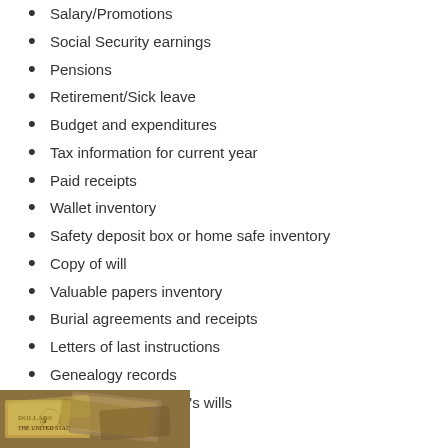Salary/Promotions
Social Security earnings
Pensions
Retirement/Sick leave
Budget and expenditures
Tax information for current year
Paid receipts
Wallet inventory
Safety deposit box or home safe inventory
Copy of will
Valuable papers inventory
Burial agreements and receipts
Letters of last instructions
Genealogy records
Copy of other people's wills
[Figure (photo): Photo of US dollar bills and currency]